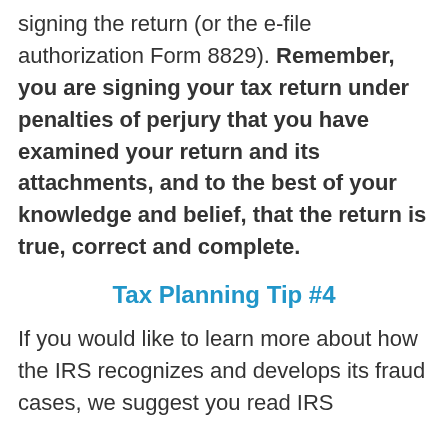signing the return (or the e-file authorization Form 8829). Remember, you are signing your tax return under penalties of perjury that you have examined your return and its attachments, and to the best of your knowledge and belief, that the return is true, correct and complete.
Tax Planning Tip #4
If you would like to learn more about how the IRS recognizes and develops its fraud cases, we suggest you read IRS